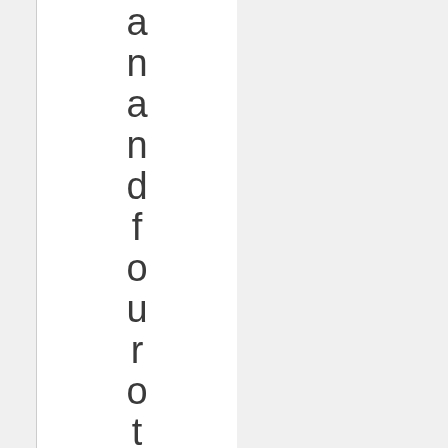and four others. Errors in pag